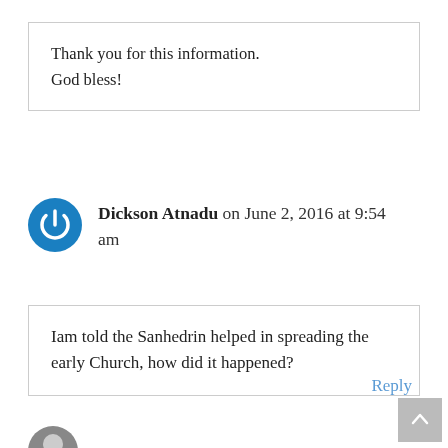Thank you for this information. God bless!
Dickson Atnadu on June 2, 2016 at 9:54 am
Iam told the Sanhedrin helped in spreading the early Church, how did it happened?
Reply